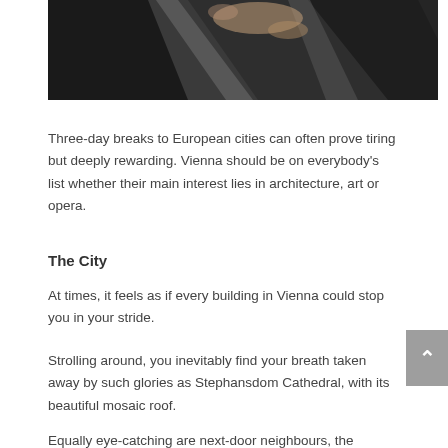[Figure (photo): Dark overhead photo showing a person lying on diagonal geometric concrete or stone steps, with dark background. Only partial view of person visible at top of frame.]
Three-day breaks to European cities can often prove tiring but deeply rewarding. Vienna should be on everybody’s list whether their main interest lies in architecture, art or opera.
The City
At times, it feels as if every building in Vienna could stop you in your stride.
Strolling around, you inevitably find your breath taken away by such glories as Stephansdom Cathedral, with its beautiful mosaic roof.
Equally eye-catching are next-door neighbours, the